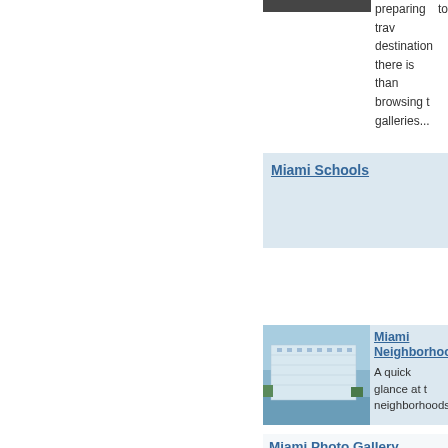[Figure (photo): Cropped top portion of a photo, partially visible at top right]
preparing to trav destination there is than browsing t galleries...
Miami Schools
[Figure (photo): Photo of a waterfront building/hotel in Miami]
Miami Neighborhoods
A quick glance at t neighborhoods.
Miami Photo Gallery
You can see differents pictures of Miami. The beaches, restaurants, nighclubs and some attractions. Get ready to know Miami!
[Figure (photo): Photo of a person, partially cropped, related to Miami Tattoos]
Miami Tattoos
Miami Ink is one popular reality sho